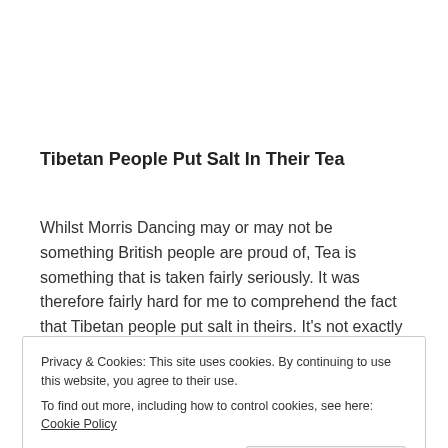Tibetan People Put Salt In Their Tea
Whilst Morris Dancing may or may not be something British people are proud of, Tea is something that is taken fairly seriously. It was therefore fairly hard for me to comprehend the fact that Tibetan people put salt in theirs. It's not exactly PG Tips or Yorkshire, but still
Privacy & Cookies: This site uses cookies. By continuing to use this website, you agree to their use.
To find out more, including how to control cookies, see here: Cookie Policy
milk, which made the salt seem a little less bizarre, and